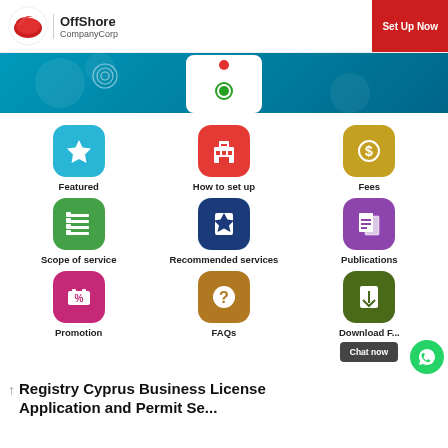OffShore CompanyCorp | Set Up Now
[Figure (screenshot): Website banner with teal background showing a mobile phone graphic]
[Figure (infographic): 3x3 icon grid with navigation categories: Featured, How to set up, Fees, Scope of service, Recommended services, Publications, Promotion, FAQs, Download]
Registry Cyprus Business License Application and Permit Services